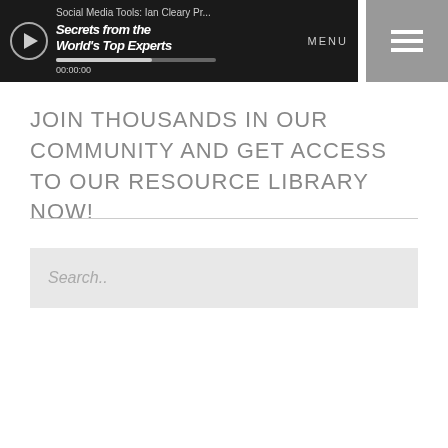[Figure (screenshot): Video player bar showing Social Media Tools: Ian Cleary Pr... with play button, progress bar showing 00:00:00, MENU text, and a hamburger menu icon on the right]
JOIN THOUSANDS IN OUR COMMUNITY AND GET ACCESS TO OUR RESOURCE LIBRARY NOW!
Search..